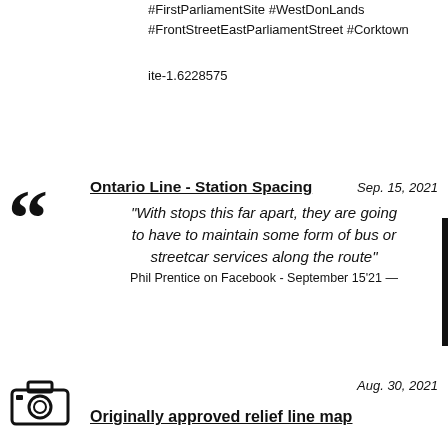#FirstParliamentSite #WestDonLands
#FrontStreetEastParliamentStreet #Corktown
ite-1.6228575
Ontario Line - Station Spacing   Sep. 15, 2021
"With stops this far apart, they are going to have to maintain some form of bus or streetcar services along the route"
Phil Prentice on Facebook - September 15'21 —
[Figure (other): Camera icon]
Aug. 30, 2021
Originally approved relief line map